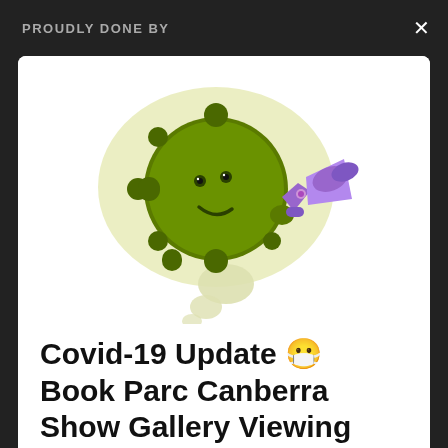PROUDLY DONE BY
[Figure (illustration): Cartoon illustration of a green COVID-19 virus character with a smiley face holding a purple megaphone/loudspeaker, set against a light olive/cream blob background shape]
Covid-19 Update 😷 Book Parc Canberra Show Gallery Viewing